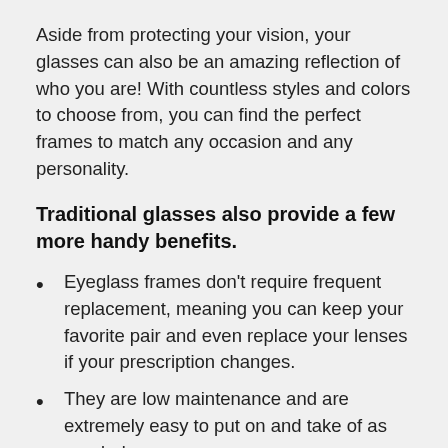Aside from protecting your vision, your glasses can also be an amazing reflection of who you are! With countless styles and colors to choose from, you can find the perfect frames to match any occasion and any personality.
Traditional glasses also provide a few more handy benefits.
Eyeglass frames don't require frequent replacement, meaning you can keep your favorite pair and even replace your lenses if your prescription changes.
They are low maintenance and are extremely easy to put on and take of as needed.
Eyeglass lenses don't only protect you from UV rays and blue light, but can shield your eyes from dust, wind, and debris.